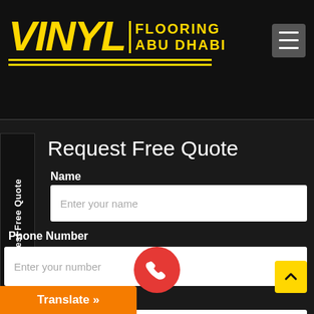[Figure (logo): Vinyl Flooring Abu Dhabi logo in yellow on black background with hamburger menu icon]
Request Free Quote
Name
Enter your name
Phone Number
Enter your number
Email
Request Free Quote
Translate »